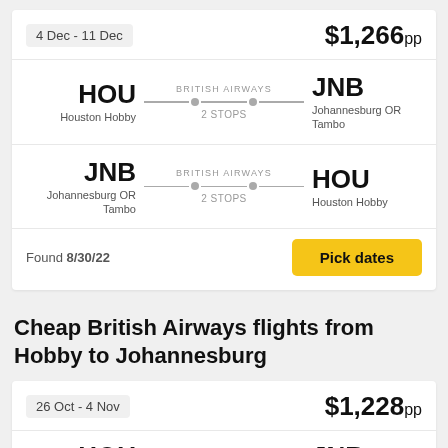4 Dec - 11 Dec
$1,266pp
HOU Houston Hobby — BRITISH AIRWAYS — 2 STOPS — JNB Johannesburg OR Tambo
JNB Johannesburg OR Tambo — BRITISH AIRWAYS — 2 STOPS — HOU Houston Hobby
Found 8/30/22
Pick dates
Cheap British Airways flights from Hobby to Johannesburg
26 Oct - 4 Nov
$1,228pp
HOU — BRITISH AIRWAYS — JNB